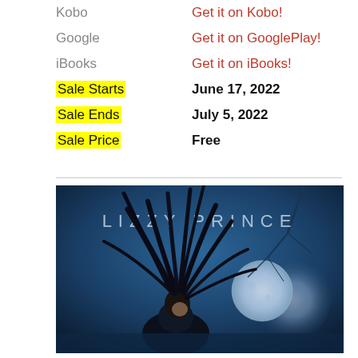Kobo — Get it on Kobo!
Google — Get it on GooglePlay!
iBooks — Get it on iBooks!
Sale Starts   June 17, 2022
Sale Ends   July 5, 2022
Sale Price   Free
[Figure (photo): Book cover image for Lizzy Prince: dark-haired woman with windswept hair against a blue moonlit background with bare trees]